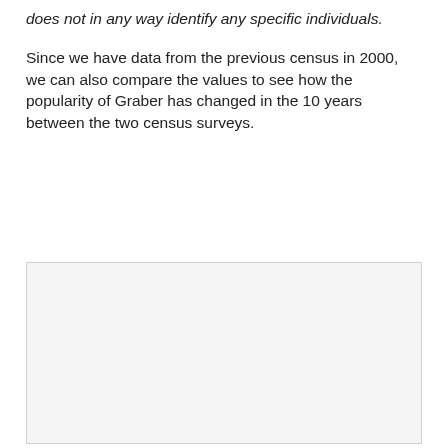does not in any way identify any specific individuals.
Since we have data from the previous census in 2000, we can also compare the values to see how the popularity of Graber has changed in the 10 years between the two census surveys.
[Figure (other): Empty or partially visible figure/chart area with light gray background]